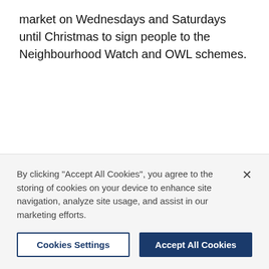market on Wednesdays and Saturdays until Christmas to sign people to the Neighbourhood Watch and OWL schemes.
Don't Miss
By clicking "Accept All Cookies", you agree to the storing of cookies on your device to enhance site navigation, analyze site usage, and assist in our marketing efforts.